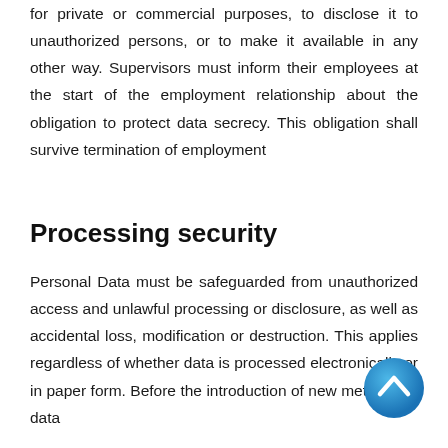for private or commercial purposes, to disclose it to unauthorized persons, or to make it available in any other way. Supervisors must inform their employees at the start of the employment relationship about the obligation to protect data secrecy. This obligation shall survive termination of employment
Processing security
Personal Data must be safeguarded from unauthorized access and unlawful processing or disclosure, as well as accidental loss, modification or destruction. This applies regardless of whether data is processed electronically or in paper form. Before the introduction of new methods of data
[Figure (other): Blue circular scroll-to-top button with upward chevron arrow]